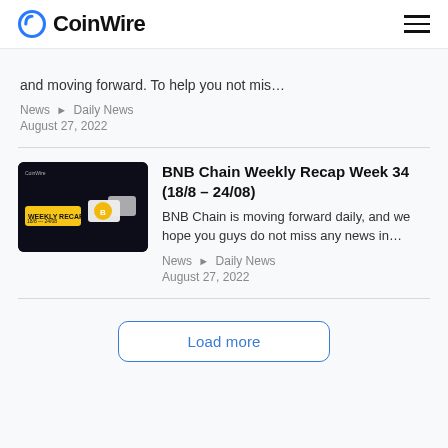CoinWire
and moving forward. To help you not mis…
News › Daily News
August 27, 2022
BNB Chain Weekly Recap Week 34 (18/8 – 24/08)
BNB Chain is moving forward daily, and we hope you guys do not miss any news in…
News › Daily News
August 27, 2022
Load more